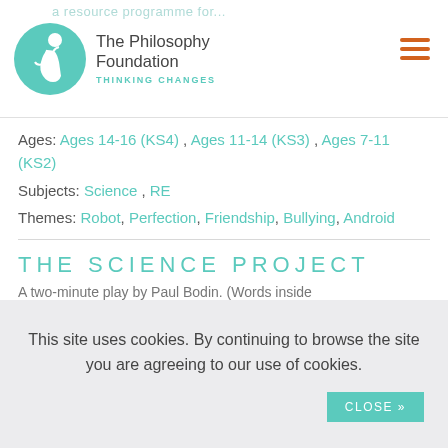The Philosophy Foundation THINKING CHANGES
Ages: Ages 14-16 (KS4), Ages 11-14 (KS3), Ages 7-11 (KS2)
Subjects: Science , RE
Themes: Robot, Perfection, Friendship, Bullying, Android
THE SCIENCE PROJECT
A two-minute play by Paul Bodin. (Words inside
This site uses cookies. By continuing to browse the site you are agreeing to our use of cookies.